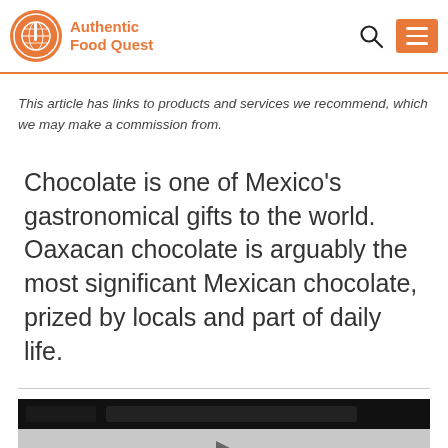Authentic Food Quest
This article has links to products and services we recommend, which we may make a commission from.
Chocolate is one of Mexico's gastronomical gifts to the world. Oaxacan chocolate is arguably the most significant Mexican chocolate, prized by locals and part of daily life.
[Figure (screenshot): Video player thumbnail with dark top bar and play button on grey background]